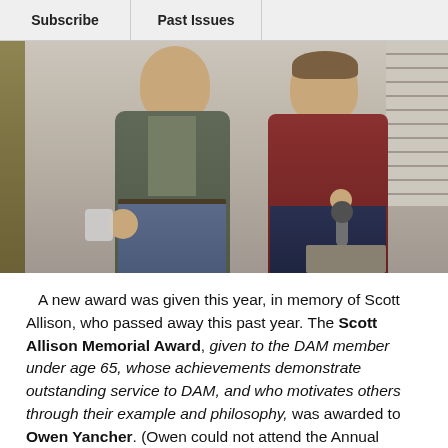Subscribe  |  Past Issues
[Figure (photo): Two men standing together indoors. The man on the left wears a gray blazer and holds a small trophy. The man on the right wears a maroon/red shirt and holds a microphone.]
A new award was given this year, in memory of Scott Allison, who passed away this past year. The Scott Allison Memorial Award, given to the DAM member under age 65, whose achievements demonstrate outstanding service to DAM, and who motivates others through their example and philosophy, was awarded to Owen Yancher. (Owen could not attend the Annual